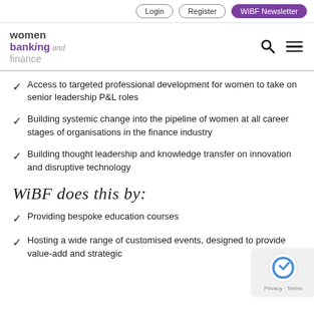Login | Register | WiBF Newsletter
[Figure (logo): Women Banking and Finance logo with search and menu icons]
Access to targeted professional development for women to take on senior leadership P&L roles
Building systemic change into the pipeline of women at all career stages of organisations in the finance industry
Building thought leadership and knowledge transfer on innovation and disruptive technology
WiBF does this by:
Providing bespoke education courses
Hosting a wide range of customised events, designed to provide value-add and strategic